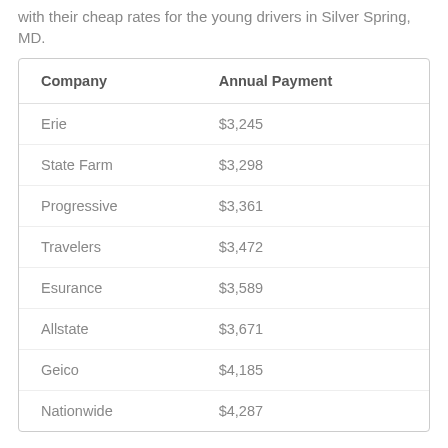with their cheap rates for the young drivers in Silver Spring, MD.
| Company | Annual Payment |
| --- | --- |
| Erie | $3,245 |
| State Farm | $3,298 |
| Progressive | $3,361 |
| Travelers | $3,472 |
| Esurance | $3,589 |
| Allstate | $3,671 |
| Geico | $4,185 |
| Nationwide | $4,287 |
The young drivers whose age is between 20 to 25 have to struggle a little hard to get cheap car insurance in Silver Spring.